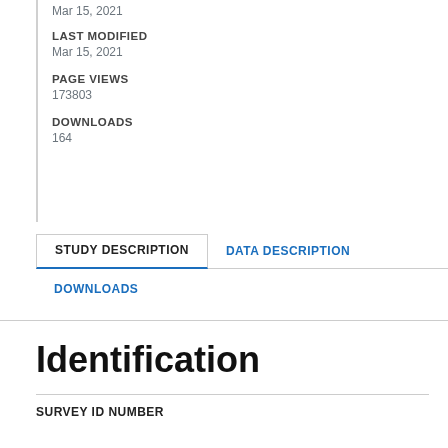Mar 15, 2021
LAST MODIFIED
Mar 15, 2021
PAGE VIEWS
173803
DOWNLOADS
164
STUDY DESCRIPTION
DATA DESCRIPTION
DOWNLOADS
Identification
SURVEY ID NUMBER